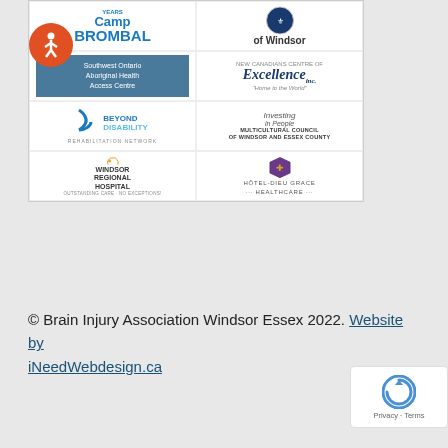[Figure (illustration): A collage of sponsor/partner organization logos including Camp Brombal, of Windsor (with crest), Southwest Ontario Aboriginal Health Access Centre, New Canadians Centre of Excellence, Beyond Disability Rehabilitation Network, Investing in People Multicultural Council of Windsor and Essex County, Windsor Regional Hospital, and Hôtel-Dieu Grace Healthcare.]
© Brain Injury Association Windsor Essex 2022. Website by iNeedWebdesign.ca